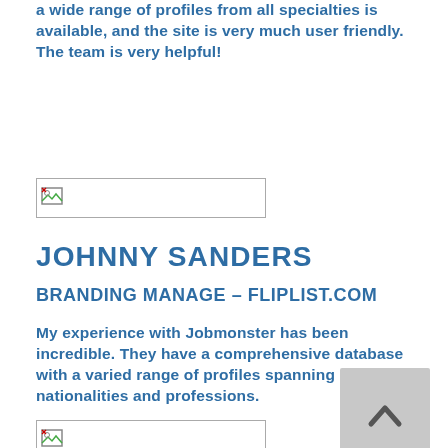a wide range of profiles from all specialties is available, and the site is very much user friendly. The team is very helpful!
[Figure (other): Small broken image placeholder icon in a bordered box]
JOHNNY SANDERS
BRANDING MANAGE – FLIPLIST.COM
My experience with Jobmonster has been incredible. They have a comprehensive database with a varied range of profiles spanning nationalities and professions.
[Figure (other): Scroll to top button with upward arrow]
[Figure (other): Small broken image placeholder icon in a bordered box]